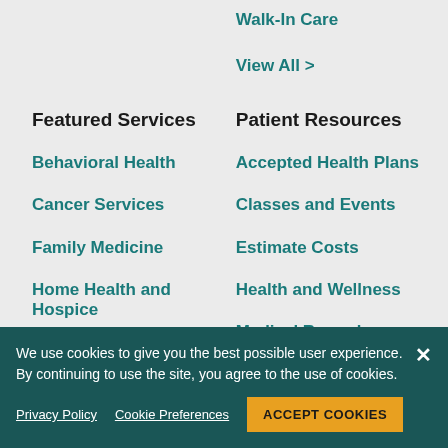Walk-In Care
View All >
Featured Services
Patient Resources
Behavioral Health
Accepted Health Plans
Cancer Services
Classes and Events
Family Medicine
Estimate Costs
Home Health and Hospice
Health and Wellness
Medical Records
Orthopedics
MyHealth Online
We use cookies to give you the best possible user experience. By continuing to use the site, you agree to the use of cookies.
Privacy Policy
Cookie Preferences
ACCEPT COOKIES